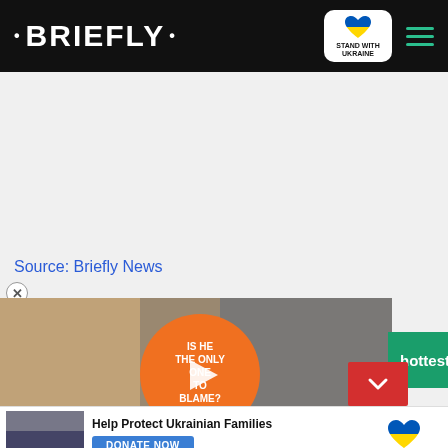· BRIEFLY ·
[Figure (logo): Briefly news website logo on black header bar with Stand With Ukraine badge and hamburger menu]
[Figure (other): Advertisement placeholder area (grey background)]
Source: Briefly News
[Figure (photo): Video thumbnail showing two people (woman with blonde hair on left, man with grey hair and glasses on right) with orange circle overlay reading IS HE THE ONLY ONE TO BLAME? and a play button]
hottest news from our Editor-
[Figure (photo): Thumbnail of people in winter scene, Help Protect Ukrainian Families donation bar with DONATE NOW button and Ukraine heart flag logo]